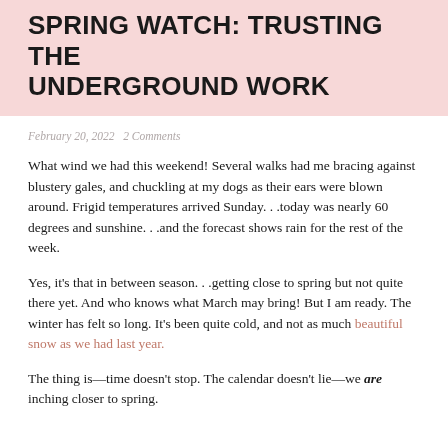SPRING WATCH: TRUSTING THE UNDERGROUND WORK
February 20, 2022   2 Comments
What wind we had this weekend! Several walks had me bracing against blustery gales, and chuckling at my dogs as their ears were blown around. Frigid temperatures arrived Sunday. . .today was nearly 60 degrees and sunshine. . .and the forecast shows rain for the rest of the week.
Yes, it's that in between season. . .getting close to spring but not quite there yet. And who knows what March may bring! But I am ready. The winter has felt so long. It's been quite cold, and not as much beautiful snow as we had last year.
The thing is—time doesn't stop. The calendar doesn't lie—we are inching closer to spring.